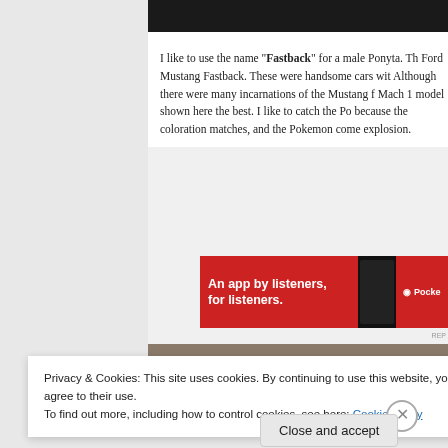[Figure (photo): Dark/black image bar at top of article]
I like to use the name “Fastback” for a male Ponyta. Th… Ford Mustang Fastback. These were handsome cars wit… Although there were many incarnations of the Mustang f… Mach 1 model shown here the best. I like to catch the Po… because the coloration matches, and the Pokemon come… explosion.
[Figure (screenshot): Red advertisement banner: 'An app by listeners, for listeners.' with Pocket Casts logo and phone image]
[Figure (photo): Brownish/tan image bar, second article image]
Privacy & Cookies: This site uses cookies. By continuing to use this website, you agree to their use.
To find out more, including how to control cookies, see here: Cookie Policy